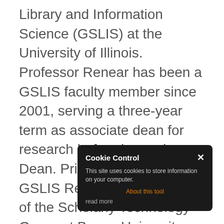Library and Information Science (GSLIS) at the University of Illinois. Professor Renear has been a GSLIS faculty member since 2001, serving a three-year term as associate dean for research before becoming Dean. Prior to coming to GSLIS Renear was Director of the Scholarly Technology Group at Brown University. His other academic leadership roles include serving as president of the Association for Computers and the Humanities, Director of the Brown University Women Writers Project, Chair of the Open eBook Publication Structure Working Group (now ePUB/IDPF), and in various roles in the Text Encoding Initiative. His research and teaching are in the areas of data curation, scientific publishing, digital humanities, and the conceptual foundations of information systems. His research projects are associated with the GSLIS Center for Informatics Research in Science and Scholarship.
[Figure (screenshot): Cookie Control popup overlay: dark rounded rectangle with title 'Cookie Control', close X button, body text 'This site uses cookies to store information on your computer.', orange link 'About this tool', and 'read more' text at bottom.]